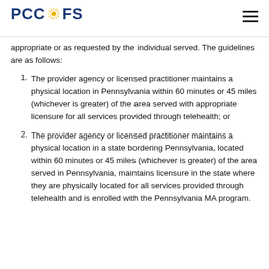PCCTFS
appropriate or as requested by the individual served. The guidelines are as follows:
The provider agency or licensed practitioner maintains a physical location in Pennsylvania within 60 minutes or 45 miles (whichever is greater) of the area served with appropriate licensure for all services provided through telehealth; or
The provider agency or licensed practitioner maintains a physical location in a state bordering Pennsylvania, located within 60 minutes or 45 miles (whichever is greater) of the area served in Pennsylvania, maintains licensure in the state where they are physically located for all services provided through telehealth and is enrolled with the Pennsylvania MA program.